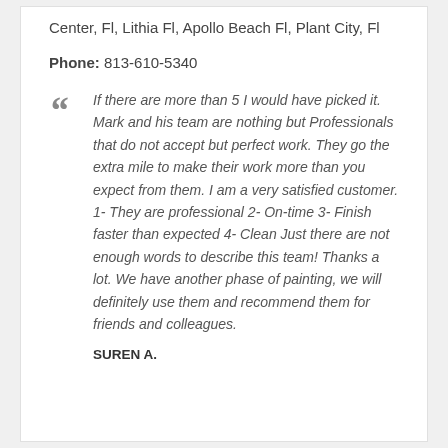Center, Fl, Lithia Fl, Apollo Beach Fl, Plant City, Fl
Phone: 813-610-5340
If there are more than 5 I would have picked it. Mark and his team are nothing but Professionals that do not accept but perfect work. They go the extra mile to make their work more than you expect from them. I am a very satisfied customer. 1- They are professional 2- On-time 3- Finish faster than expected 4- Clean Just there are not enough words to describe this team! Thanks a lot. We have another phase of painting, we will definitely use them and recommend them for friends and colleagues.
SUREN A.